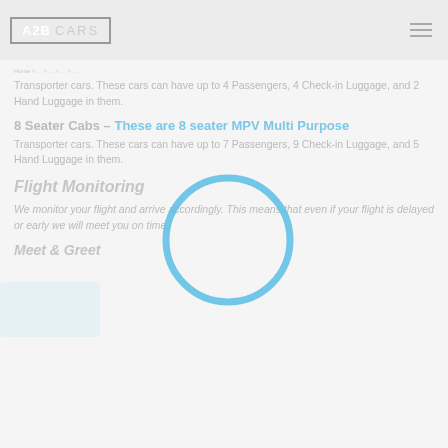A2B CARS
Transporter cars. These cars can have up to 4 Passengers, 4 Check-in Luggage, and 2 Hand Luggage in them.
8 Seater Cabs – These are 8 seater MPV Multi Purpose Transporter cars. These cars can have up to 7 Passengers, 9 Check-in Luggage, and 5 Hand Luggage in them.
Flight Monitoring
We monitor your flight and arrive accordingly. This means that even if your flight is delayed or early we will meet you on time.
Meet & Greet